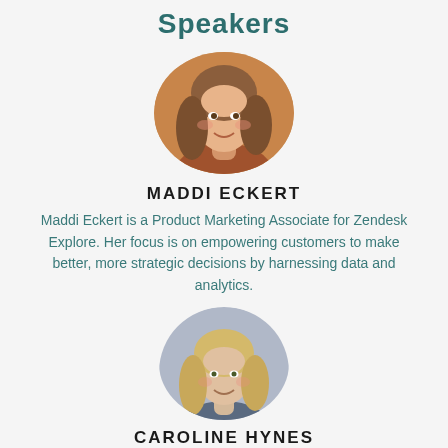Speakers
[Figure (photo): Circular headshot of Maddi Eckert, a woman with long wavy brown hair, smiling, wearing casual clothes, with warm outdoor lighting in background.]
MADDI ECKERT
Maddi Eckert is a Product Marketing Associate for Zendesk Explore. Her focus is on empowering customers to make better, more strategic decisions by harnessing data and analytics.
[Figure (photo): Circular headshot of Caroline Hynes, a woman with long blonde hair, smiling, in a professional setting.]
CAROLINE HYNES